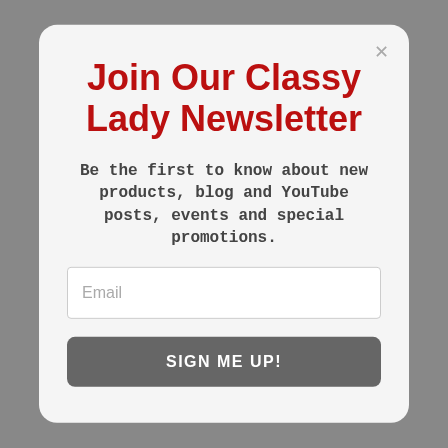Join Our Classy Lady Newsletter
Be the first to know about new products, blog and YouTube posts, events and special promotions.
[Figure (screenshot): Email input field with placeholder text 'Email' and a 'SIGN ME UP!' button below it]